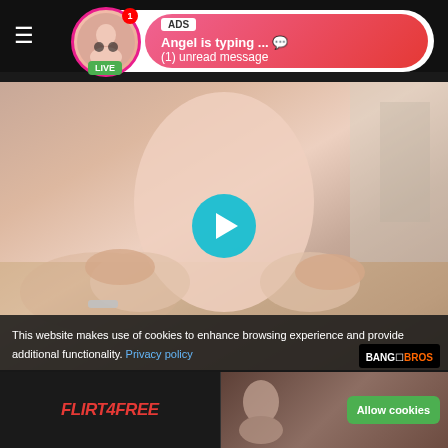NUBILE PORN
[Figure (screenshot): Ad banner with live avatar, pink gradient background. ADS label, 'Angel is typing ... 💬' and '(1) unread message' text. LIVE badge on avatar.]
[Figure (photo): Adult content video thumbnail with cyan play button overlay]
This website makes use of cookies to enhance browsing experience and provide additional functionality.  Privacy policy
[Figure (logo): BANG BROS logo bottom right]
[Figure (logo): FLIRT4FREE logo bottom left thumbnail]
Allow cookies